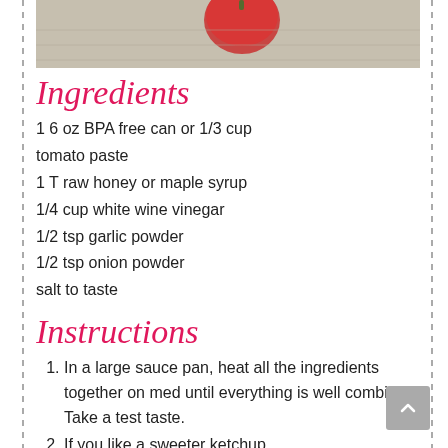[Figure (photo): A tomato and knit/mesh fabric on a white background, top portion of image visible.]
Ingredients
1 6 oz BPA free can or 1/3 cup tomato paste
1 T raw honey or maple syrup
1/4 cup white wine vinegar
1/2 tsp garlic powder
1/2 tsp onion powder
salt to taste
Instructions
1. In a large sauce pan, heat all the ingredients together on med until everything is well combined. Take a test taste.
2. If you like a sweeter ketchup,